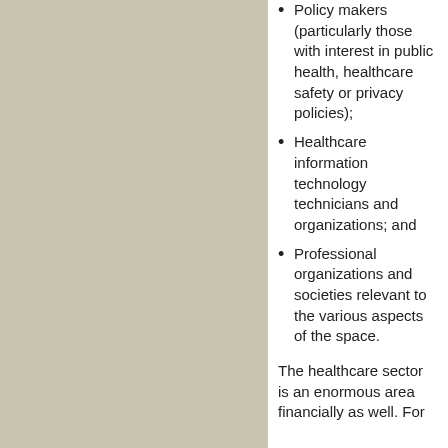Policy makers (particularly those with interest in public health, healthcare safety or privacy policies);
Healthcare information technology technicians and organizations; and
Professional organizations and societies relevant to the various aspects of the space.
The healthcare sector is an enormous area financially as well. For